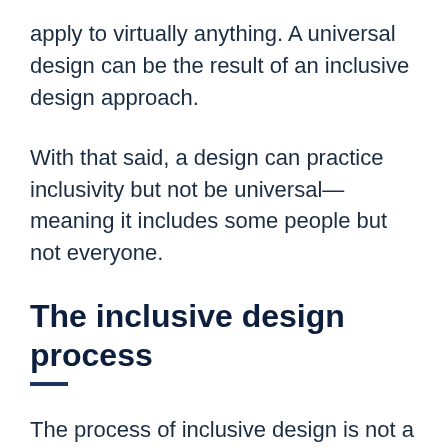apply to virtually anything. A universal design can be the result of an inclusive design approach.
With that said, a design can practice inclusivity but not be universal—meaning it includes some people but not everyone.
The inclusive design process
The process of inclusive design is not a straightforward one. As the goal is to include those who have previously been excluded, it ultimately depends on your audience, your